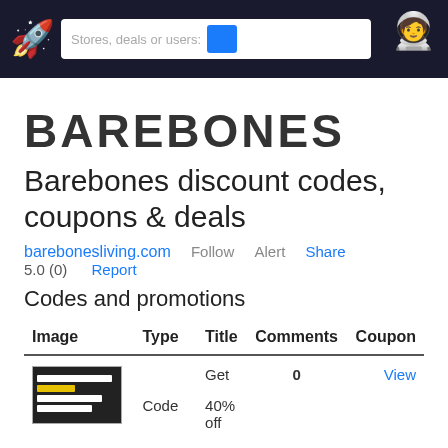Stores, deals or users [search bar] [astronaut icon]
BAREBONES
Barebones discount codes, coupons & deals
barebonesliving.com   Follow   Alert   Share
5.0 (0)   Report
Codes and promotions
| Image | Type | Title | Comments | Coupon |
| --- | --- | --- | --- | --- |
| [thumbnail] | Code | Get 40% off | 0 | View |